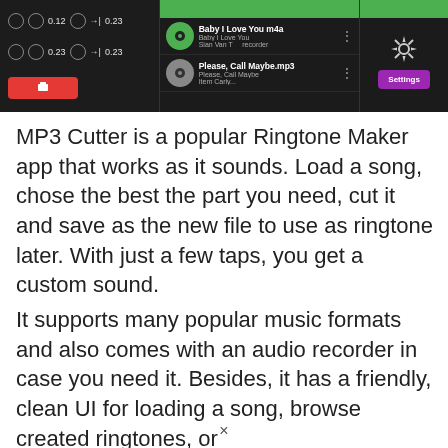[Figure (screenshot): Screenshot of the MP3 Cutter app showing a waveform editor panel on the left with time values 0.12, 0.23 and a red button, a song list in the middle showing 'Baby I Love You m4a' and 'Please, Call Maybe.mp3', and a Settings button on the right against a green top bar.]
MP3 Cutter is a popular Ringtone Maker app that works as it sounds. Load a song, chose the best the part you need, cut it and save as the new file to use as ringtone later. With just a few taps, you get a custom sound.
It supports many popular music formats and also comes with an audio recorder in case you need it. Besides, it has a friendly, clean UI for loading a song, browse created ringtones, or
×